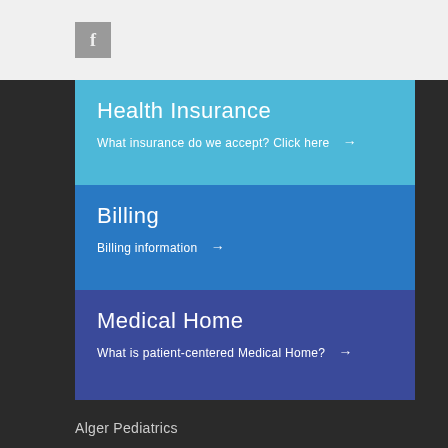[Figure (logo): Facebook icon button in a grey square]
Health Insurance
What insurance do we accept? Click here →
Billing
Billing information →
Medical Home
What is patient-centered Medical Home? →
Alger Pediatrics